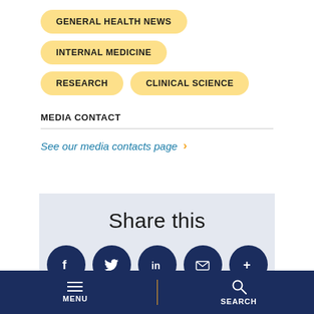GENERAL HEALTH NEWS
INTERNAL MEDICINE
RESEARCH
CLINICAL SCIENCE
MEDIA CONTACT
See our media contacts page ›
Share this
[Figure (infographic): Five social sharing icons (Facebook, Twitter, LinkedIn, Email, More) as dark navy circles]
MENU | SEARCH